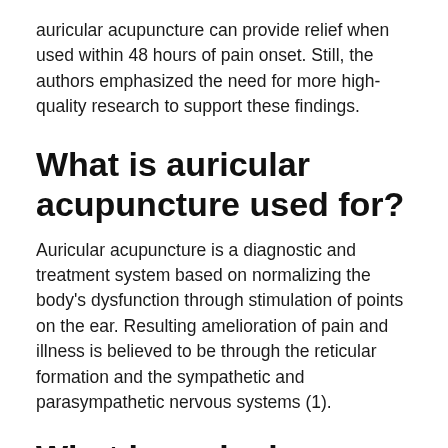auricular acupuncture can provide relief when used within 48 hours of pain onset. Still, the authors emphasized the need for more high-quality research to support these findings.
What is auricular acupuncture used for?
Auricular acupuncture is a diagnostic and treatment system based on normalizing the body's dysfunction through stimulation of points on the ear. Resulting amelioration of pain and illness is believed to be through the reticular formation and the sympathetic and parasympathetic nervous systems (1).
What is auricular